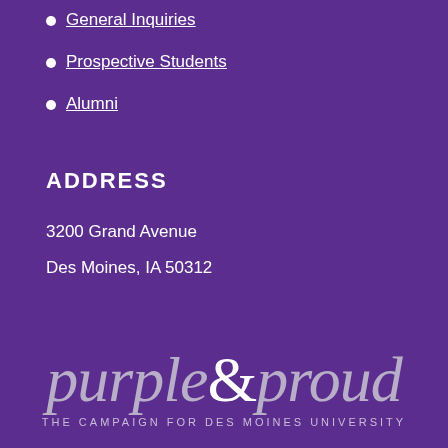General Inquiries
Prospective Students
Alumni
ADDRESS
3200 Grand Avenue
Des Moines, IA 50312
[Figure (logo): purple & proud — The Campaign for Des Moines University logo in italic serif font on purple background]